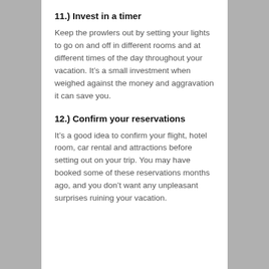11.) Invest in a timer
Keep the prowlers out by setting your lights to go on and off in different rooms and at different times of the day throughout your vacation. It’s a small investment when weighed against the money and aggravation it can save you.
12.) Confirm your reservations
It’s a good idea to confirm your flight, hotel room, car rental and attractions before setting out on your trip. You may have booked some of these reservations months ago, and you don’t want any unpleasant surprises ruining your vacation.